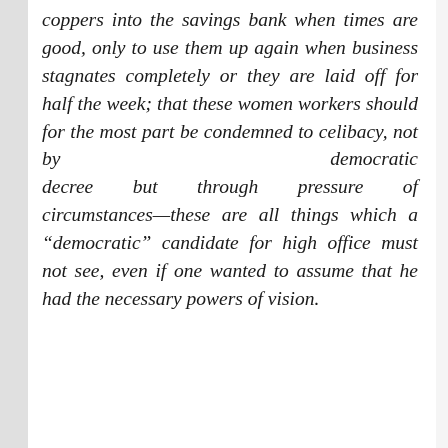coppers into the savings bank when times are good, only to use them up again when business stagnates completely or they are laid off for half the week; that these women workers should for the most part be condemned to celibacy, not by democratic decree but through pressure of circumstances—these are all things which a "democratic" candidate for high office must not see, even if one wanted to assume that he had the necessary powers of vision.